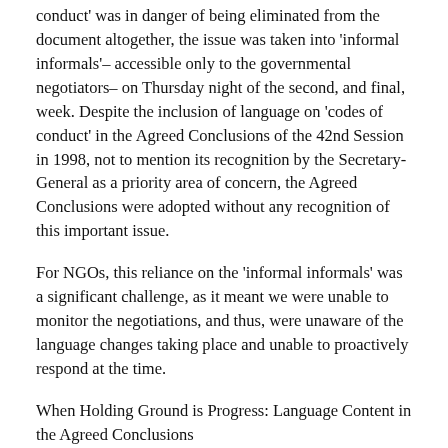conduct' was in danger of being eliminated from the document altogether, the issue was taken into 'informal informals'– accessible only to the governmental negotiators– on Thursday night of the second, and final, week. Despite the inclusion of language on 'codes of conduct' in the Agreed Conclusions of the 42nd Session in 1998, not to mention its recognition by the Secretary-General as a priority area of concern, the Agreed Conclusions were adopted without any recognition of this important issue.
For NGOs, this reliance on the 'informal informals' was a significant challenge, as it meant we were unable to monitor the negotiations, and thus, were unaware of the language changes taking place and unable to proactively respond at the time.
When Holding Ground is Progress: Language Content in the Agreed Conclusions
Despite the concrete recommendations – including actor-